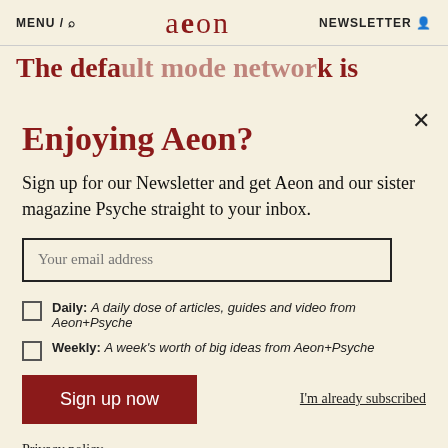MENU / 🔍   aeon   NEWSLETTER 👤
The default mode network is
Enjoying Aeon?
Sign up for our Newsletter and get Aeon and our sister magazine Psyche straight to your inbox.
Your email address
Daily: A daily dose of articles, guides and video from Aeon+Psyche
Weekly: A week's worth of big ideas from Aeon+Psyche
Sign up now
I'm already subscribed
Privacy policy